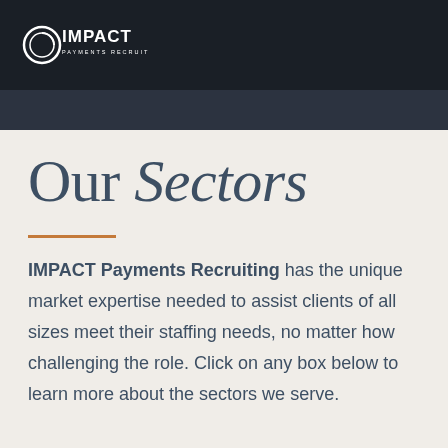IMPACT PAYMENTS RECRUITING
Our Sectors
IMPACT Payments Recruiting has the unique market expertise needed to assist clients of all sizes meet their staffing needs, no matter how challenging the role. Click on any box below to learn more about the sectors we serve.